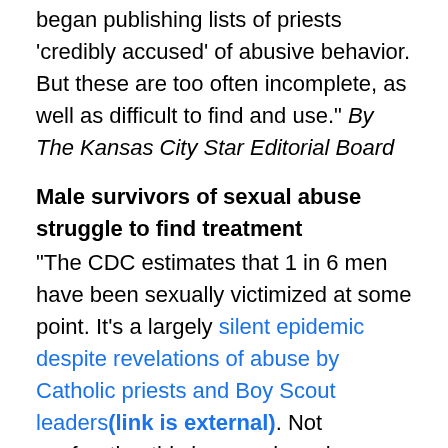began publishing lists of priests 'credibly accused' of abusive behavior. But these are too often incomplete, as well as difficult to find and use." By The Kansas City Star Editorial Board
Male survivors of sexual abuse struggle to find treatment
"The CDC estimates that 1 in 6 men have been sexually victimized at some point. It's a largely silent epidemic despite revelations of abuse by Catholic priests and Boy Scout leaders(link is external). Not confronting this issue only makes recovery harder. Rachel Rock brings us one man's search for support. Jim Holland says he was raped by a priest when he was 13 years old. He locked his trauma away for 30 years, held it at bay with drinking, drugs and promiscuity. The 2003 Boston Globe Spotlight investigation of priest sexual abuse triggered Holland's